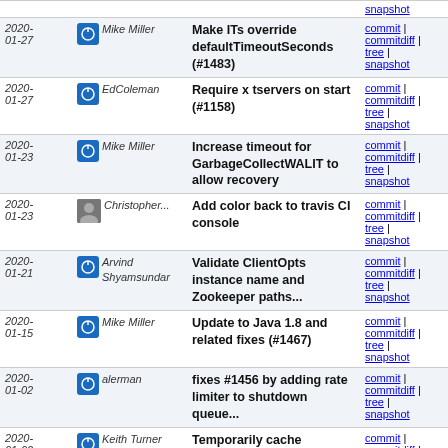| Date | Author | Message | Links |
| --- | --- | --- | --- |
|  |  |  | snapshot |
| 2020-01-27 | Mike Miller | Make ITs override defaultTimeoutSeconds (#1483) | commit | commitdiff | tree | snapshot |
| 2020-01-27 | EdColeman | Require x tservers on start (#1158) | commit | commitdiff | tree | snapshot |
| 2020-01-23 | Mike Miller | Increase timeout for GarbageCollectWALIT to allow recovery | commit | commitdiff | tree | snapshot |
| 2020-01-23 | Christopher... | Add color back to travis CI console | commit | commitdiff | tree | snapshot |
| 2020-01-21 | Arvind Shyamsundar | Validate ClientOpts instance name and Zookeeper paths... | commit | commitdiff | tree | snapshot |
| 2020-01-15 | Mike Miller | Update to Java 1.8 and related fixes (#1467) | commit | commitdiff | tree | snapshot |
| 2020-01-02 | alerman | fixes #1456 by adding rate limiter to shutdown queue... | commit | commitdiff | tree | snapshot |
| 2020-01-02 | Keith Turner | Temporarily cache existence of recovery wals (#1462) | commit | commitdiff | tree | snapshot |
| 2019-12-10 | Mike Miller | Turn off trim stacktrace on failsafe plugin (#1452) | commit | commitdiff | tree | snapshot |
| 2019-11-16 | Christopher... | Backport license and typo fixes for bloomfilter code | commit | commitdiff | tree |